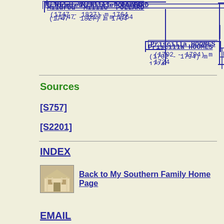[Figure (flowchart): Genealogy chart fragment showing Mildred 'Millie' POLLARD (1747-1827) m 1764 connected by lines to Priscilla HOOMES (1702-1794) m 1724]
[S757]
[S2201]
Sources
INDEX
Back to My Southern Family Home Page
EMAIL